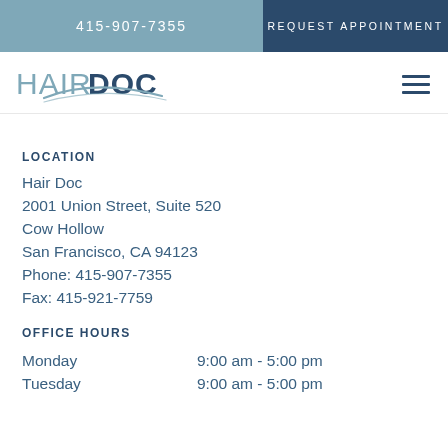415-907-7355
REQUEST APPOINTMENT
[Figure (logo): HairDoc logo with stylized swoosh mark]
LOCATION
Hair Doc
2001 Union Street, Suite 520
Cow Hollow
San Francisco, CA 94123
Phone: 415-907-7355
Fax: 415-921-7759
OFFICE HOURS
Monday    9:00 am - 5:00 pm
Tuesday    9:00 am - 5:00 pm